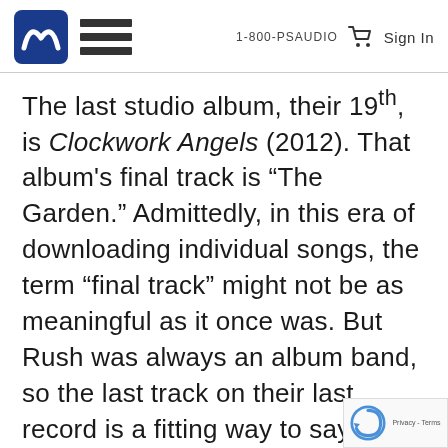1-800-PSAUDIO  Sign In
The last studio album, their 19th, is Clockwork Angels (2012). That album's final track is “The Garden.” Admittedly, in this era of downloading individual songs, the term “final track” might not be as meaningful as it once was. But Rush was always an album band, so the last track on their last record is a fitting way to say farewell. The spooky violin tremolo (strings arranged and conducted by David Campbell) and the old-school use of strummed acoustic guitar give this song a kind of melancholy that real...